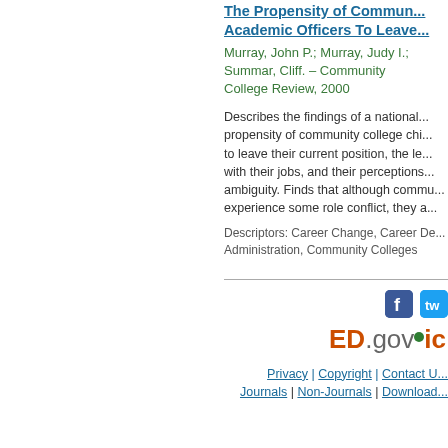The Propensity of Community College Chief Academic Officers To Leave Their Positions
Murray, John P.; Murray, Judy I.; Summar, Cliff. – Community College Review, 2000
Describes the findings of a national study examining the propensity of community college chief academic officers to leave their current position, the level of satisfaction with their jobs, and their perceptions of role conflict and ambiguity. Finds that although community college CAOs experience some role conflict, they ...
Descriptors: Career Change, Career Development, College Administration, Community Colleges
[Figure (logo): Facebook and Twitter social media icons]
[Figure (logo): ED.gov ERIC logo]
Privacy | Copyright | Contact Us | Journals | Non-Journals | Downloads